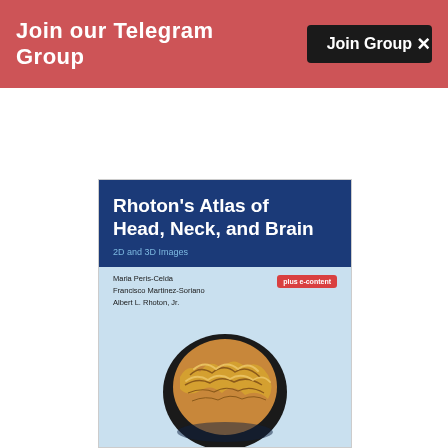Join our Telegram Group | Join Group | ×
[Figure (illustration): Book cover of Rhoton's Atlas of Head, Neck, and Brain — 2D and 3D Images, by Maria Peris-Celda, Francisco Martinez-Soriano, Albert L. Rhoton Jr., showing a 3D brain anatomical image on a light blue background with a dark blue title area and a 'plus e-content' badge.]